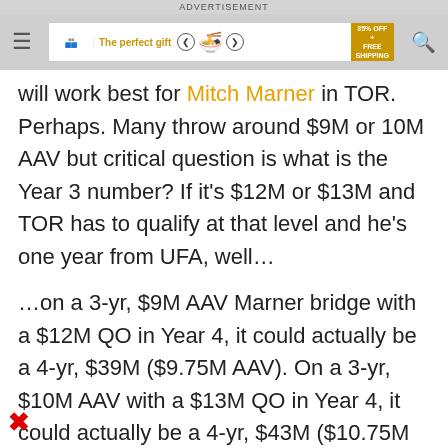ADVERTISEMENT
[Figure (screenshot): Advertisement banner showing 'The perfect gift' with food bowl image, navigation arrows, and '35% OFF + FREE SHIPPING' offer badge]
will work best for Mitch Marner in TOR. Perhaps. Many throw around $9M or 10M AAV but critical question is what is the Year 3 number? If it’s $12M or $13M and TOR has to qualify at that level and he’s one year from UFA, well…
…on a 3-yr, $9M AAV Marner bridge with a $12M QO in Year 4, it could actually be a 4-yr, $39M ($9.75M AAV). On a 3-yr, $10M AAV with a $13M QO in Year 4, it could actually be a 4-yr, $43M ($10.75M AAV). Either way, MM is set up to walk into UFA in 4 years